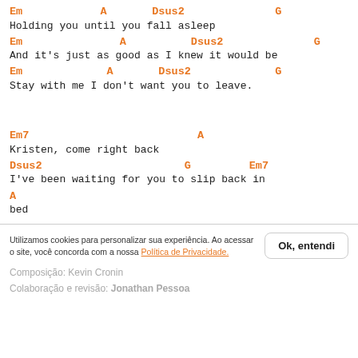Em    A    Dsus2         G
Holding you until you fall asleep
Em             A         Dsus2         G
And it's just as good as I knew it would be
Em           A      Dsus2         G
Stay with me I don't want you to leave.
Em7                        A
Kristen, come right back
Dsus2                      G         Em7
I've been waiting for you to slip back in
A
bed
Utilizamos cookies para personalizar sua experiência. Ao acessar o site, você concorda com a nossa Política de Privacidade.
Ok, entendi
Composição: Kevin Cronin
Colaboração e revisão: Jonathan Pessoa